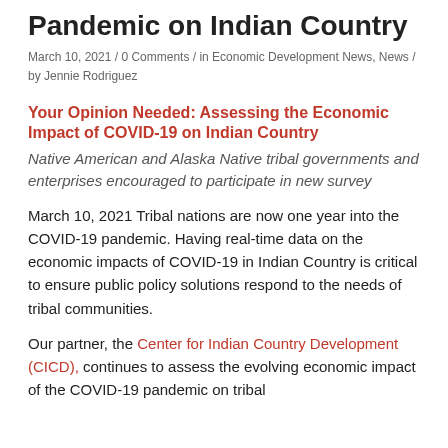Pandemic on Indian Country
March 10, 2021 / 0 Comments / in Economic Development News, News / by Jennie Rodriguez
Your Opinion Needed: Assessing the Economic Impact of COVID-19 on Indian Country
Native American and Alaska Native tribal governments and enterprises encouraged to participate in new survey
March 10, 2021 Tribal nations are now one year into the COVID-19 pandemic. Having real-time data on the economic impacts of COVID-19 in Indian Country is critical to ensure public policy solutions respond to the needs of tribal communities.
Our partner, the Center for Indian Country Development (CICD), continues to assess the evolving economic impact of the COVID-19 pandemic on tribal